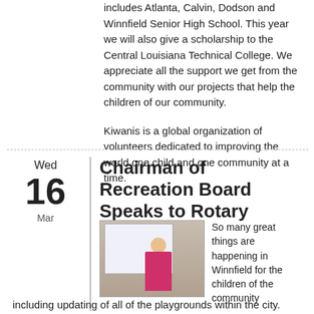includes Atlanta, Calvin, Dodson and Winnfield Senior High School. This year we will also give a scholarship to the Central Louisiana Technical College. We appreciate all the support we get from the community with our projects that help the children of our community.
Kiwanis is a global organization of volunteers dedicated to improving the world one child and one community at a time.
Chairman of Recreation Board Speaks to Rotary
[Figure (photo): A woman in a pink top standing in front of a projection screen, speaking at a meeting.]
So many great things are happening in Winnfield for the children of the community including updating of all of the playgrounds within the city. Shannan Chevallier, Chairman of the Recreation Board spoke to Rotarians at the March 9 meeting and gave updates on projects going on. Through a